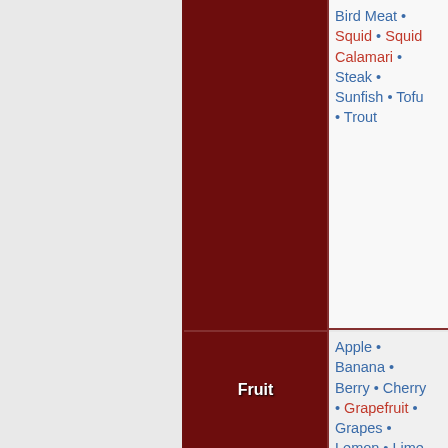| Category | Items |
| --- | --- |
| (dark red cell) | Bird Meat • Squid • Squid Calamari • Steak • Sunfish • Tofu • Trout |
| Fruit | Apple • Banana • Berry • Cherry • Grapefruit • Grapes • Lemon • Lime • Mango • Orange • Peach • Pear • Pineapple • Strawberries • Watermelon • Watermelon Chunks • |